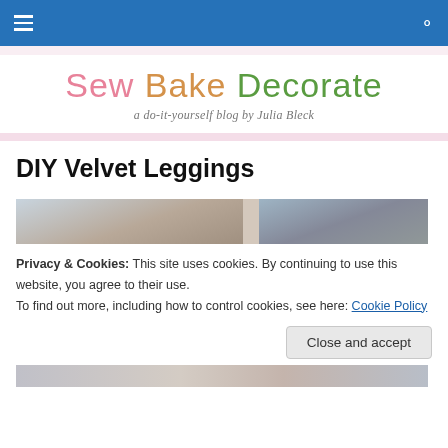Navigation bar with hamburger menu and search icon
[Figure (logo): Sew Bake Decorate blog logo with tagline 'a do-it-yourself blog by Julia Bleck']
DIY Velvet Leggings
[Figure (photo): Hero image showing a street/urban scene, partially visible]
Privacy & Cookies: This site uses cookies. By continuing to use this website, you agree to their use.
To find out more, including how to control cookies, see here: Cookie Policy
Close and accept
[Figure (photo): Bottom portion of photo showing person in outdoor urban setting]